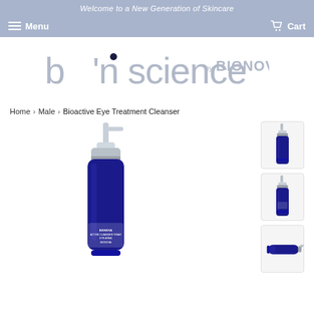Welcome to a New Generation of Skincare
Menu   Cart
[Figure (logo): b'n science by BIONOVA logo in grey text]
Home › Male › Bioactive Eye Treatment Cleanser
[Figure (photo): Main product image: blue glass pump bottle of BIONOVA Bioactive Cleanser Treatment Eye Area]
[Figure (photo): Thumbnail 1: blue pump bottle, front view]
[Figure (photo): Thumbnail 2: blue pump bottle, side view]
[Figure (photo): Thumbnail 3: blue pump bottle lying on side]